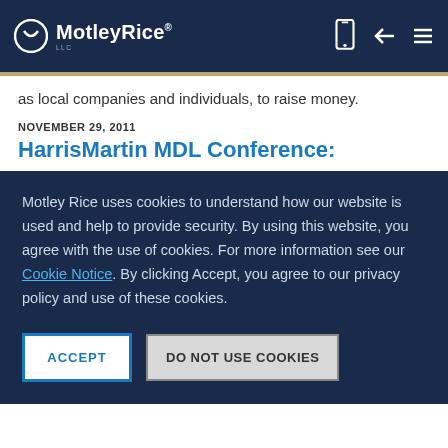MotleyRice LLC
as local companies and individuals, to raise money.
NOVEMBER 29, 2011
HarrisMartlin MDL Conference:
Motley Rice uses cookies to understand how our website is used and help to provide security. By using this website, you agree with the use of cookies. For more information see our Cookie Notice. By clicking Accept, you agree to our privacy policy and use of these cookies.
ACCEPT
DO NOT USE COOKIES